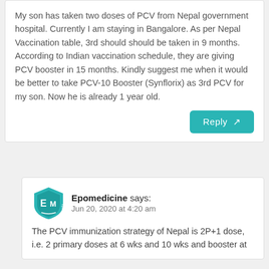My son has taken two doses of PCV from Nepal government hospital. Currently I am staying in Bangalore. As per Nepal Vaccination table, 3rd should should be taken in 9 months. According to Indian vaccination schedule, they are giving PCV booster in 15 months. Kindly suggest me when it would be better to take PCV-10 Booster (Synflorix) as 3rd PCV for my son. Now he is already 1 year old.
Reply ↗
Epomedicine says:
Jun 20, 2020 at 4:20 am
The PCV immunization strategy of Nepal is 2P+1 dose, i.e. 2 primary doses at 6 wks and 10 wks and booster at